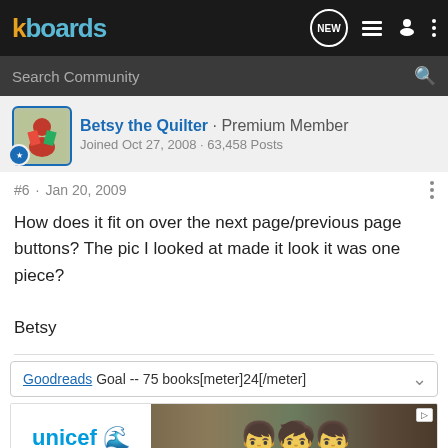kboards
Search Community
Betsy the Quilter · Premium Member
Joined Oct 27, 2008 · 63,458 Posts
#6 · Jan 20, 2009
How does it fit on over the next page/previous page buttons? The pic I looked at made it look it was one piece?

Betsy
Goodreads Goal -- 75 books[meter]24[/meter]